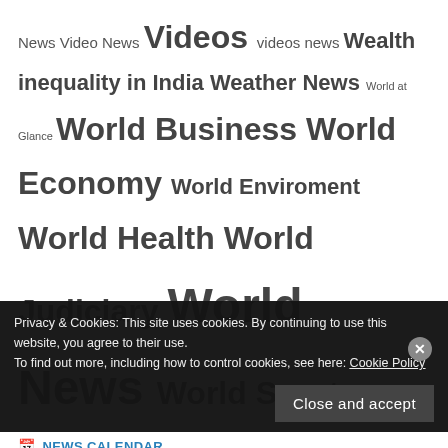News Video News Videos videos news Wealth inequality in India Weather News World at Glance World Business World Economy World Enviroment World Health World Judiciary World News World Sports
NEWS CALENDAR
| M | T | W | T | F | S | S |
| --- | --- | --- | --- | --- | --- | --- |
| 1 | 2 | 3 | 4 | 5 | 6 | 7 |
Privacy & Cookies: This site uses cookies. By continuing to use this website, you agree to their use.
To find out more, including how to control cookies, see here: Cookie Policy
Close and accept